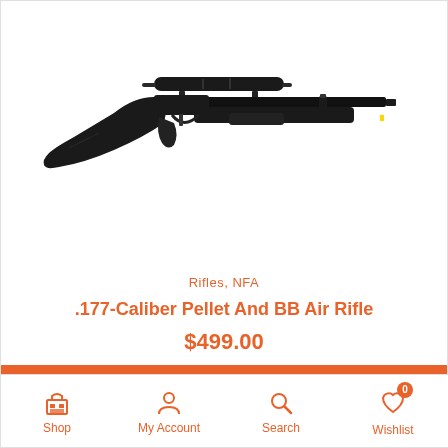[Figure (photo): A black .177-caliber pellet and BB air rifle with a scope mounted on top, shown in profile against a white background.]
Rifles, NFA
.177-Caliber Pellet And BB Air Rifle
$499.00
Add To Cart
Shop  My Account  Search  Wishlist